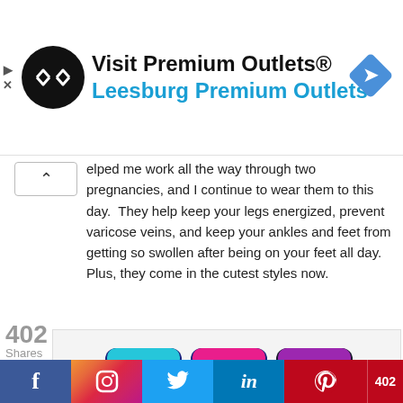[Figure (screenshot): Advertisement banner for Premium Outlets - Leesburg Premium Outlets with logo circle and navigation icon]
elped me work all the way through two pregnancies, and I continue to wear them to this day.  They help keep your legs energized, prevent varicose veins, and keep your ankles and feet from getting so swollen after being on your feet all day.  Plus, they come in the cutest styles now.
[Figure (photo): Three colorful compression socks/stockings displayed upright - one with multicolored polka dots on navy, one with hearts on navy, one with heartbeat/EKG pattern on black]
402 Shares | Facebook | Instagram | Twitter | LinkedIn | Pinterest | 402